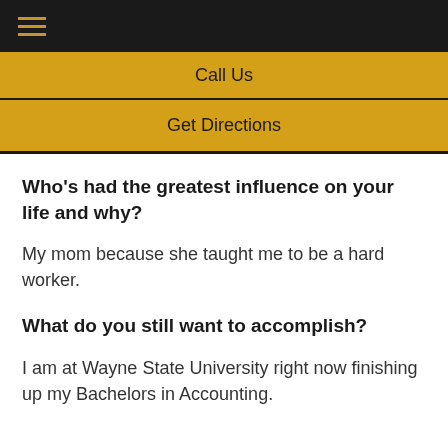☰
Call Us
Get Directions
Who's had the greatest influence on your life and why?
My mom because she taught me to be a hard worker.
What do you still want to accomplish?
I am at Wayne State University right now finishing up my Bachelors in Accounting.